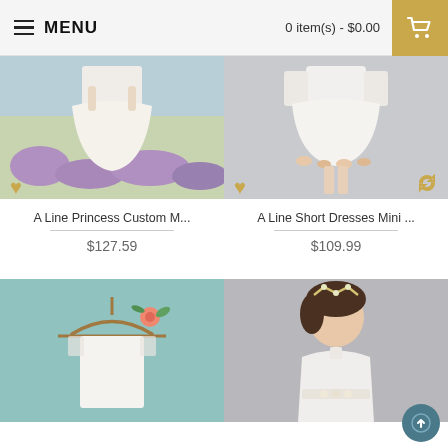MENU | 0 item(s) - $0.00
[Figure (photo): White A-line short dress worn outdoors in a flower field]
A Line Princess Custom M...
$127.59
[Figure (photo): White short tulle dress with floral embroidery at hem, girl wearing long sleeves]
A Line Short Dresses Mini ...
$109.99
[Figure (photo): White lace short dress on wooden hanger with pink flower decoration, teal background]
[Figure (photo): Young girl wearing white halter dress with floral waist and tiara crown]